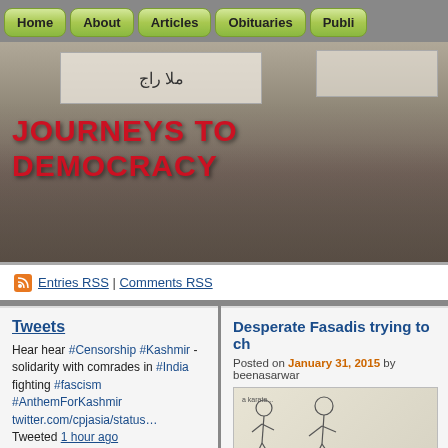Home | About | Articles | Obituaries | Publi...
[Figure (photo): Black and white photograph of women protesters holding signs with Urdu text, banner reads JOURNEYS TO DEMOCRACY in red over the image]
JOURNEYS TO DEMOCRACY
Entries RSS | Comments RSS
Tweets
Hear hear #Censorship #Kashmir - solidarity with comrades in #India fighting #fascism #AnthemForKashmir twitter.com/cpjasia/status… Tweeted 1 hour ago
Desperate Fasadis trying to ch...
Posted on January 31, 2015 by beenasarwar
[Figure (illustration): Sketch/cartoon drawing in pencil showing cartoon figures]